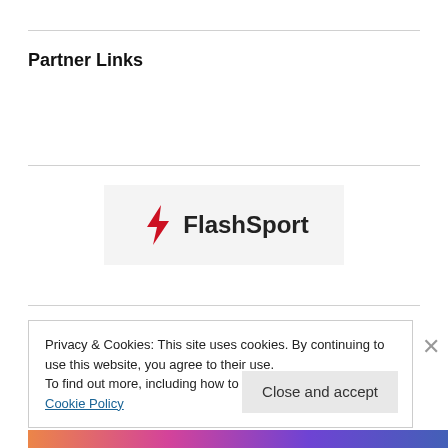Partner Links
[Figure (logo): FlashSport logo with red lightning bolt and bold text 'FlashSport' on grey background]
[Figure (logo): PPSoccer logo with stylized PP in italic and 'Soccer' in blackletter/gothic font]
Privacy & Cookies: This site uses cookies. By continuing to use this website, you agree to their use.
To find out more, including how to control cookies, see here: Cookie Policy
Close and accept